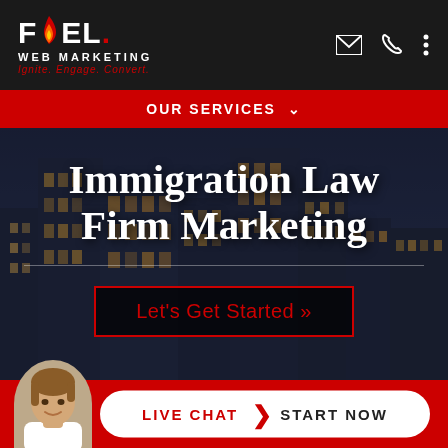[Figure (logo): Fuel Web Marketing logo with flame icon, tagline: Ignite. Engage. Convert.]
OUR SERVICES ∨
Immigration Law Firm Marketing
Let's Get Started »
[Figure (photo): Live Chat bar with female agent avatar and Start Now button]